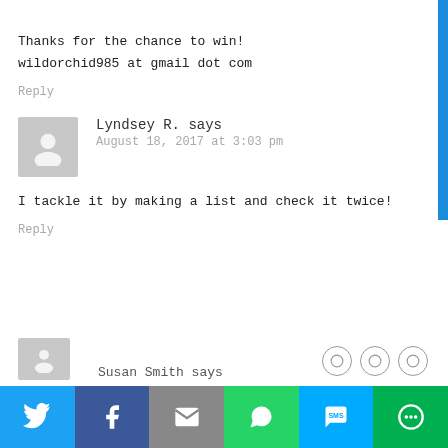Thanks for the chance to win!
wildorchid985 at gmail dot com
Reply
Lyndsey R. says
August 18, 2017 at 3:03 pm
I tackle it by making a list and check it twice!
Reply
Susan Smith says